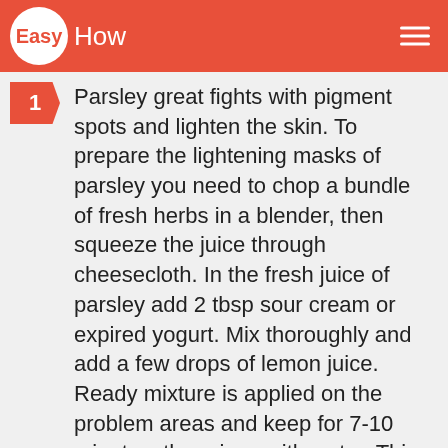EasyHow
Parsley great fights with pigment spots and lighten the skin. To prepare the lightening masks of parsley you need to chop a bundle of fresh herbs in a blender, then squeeze the juice through cheesecloth. In the fresh juice of parsley add 2 tbsp sour cream or expired yogurt. Mix thoroughly and add a few drops of lemon juice. Ready mixture is applied on the problem areas and keep for 7-10 minutes, then rinse with water. This procedure is recommended 3-4 days, maximum 5 times a day.
Cucumber is also known for its whitening properties. To prepare the cucumber mask, you need to grate a small cucumber on a fine grater. Add to grated cucumber 1 tbsp of moisturizer. Then with a cotton pad apply the prepared cucumber mixture on...